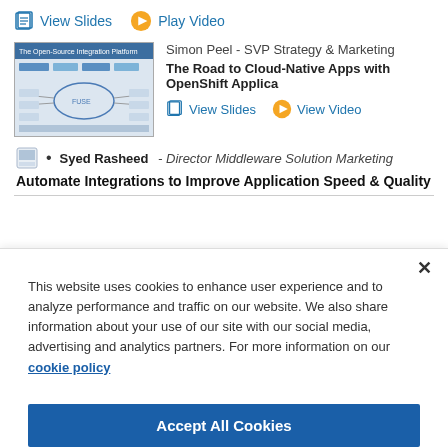View Slides | Play Video
[Figure (screenshot): Thumbnail image showing a cloud integration platform diagram]
Simon Peel - SVP Strategy & Marketing
The Road to Cloud-Native Apps with OpenShift Applica...
View Slides | View Video
Syed Rasheed - Director Middleware Solution Marketing
Automate Integrations to Improve Application Speed & Quality
This website uses cookies to enhance user experience and to analyze performance and traffic on our website. We also share information about your use of our site with our social media, advertising and analytics partners. For more information on our cookie policy
Accept All Cookies
Cookies Settings